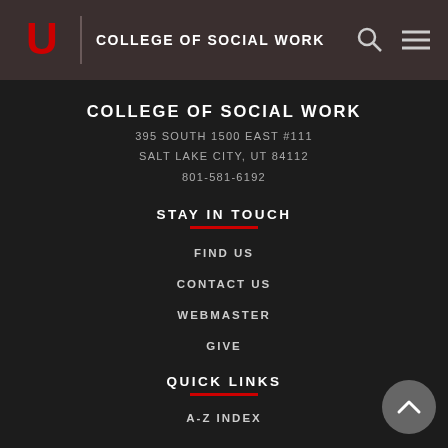COLLEGE OF SOCIAL WORK
COLLEGE OF SOCIAL WORK
395 SOUTH 1500 EAST #111
SALT LAKE CITY, UT 84112
801-581-6192
STAY IN TOUCH
FIND US
CONTACT US
WEBMASTER
GIVE
QUICK LINKS
A-Z INDEX